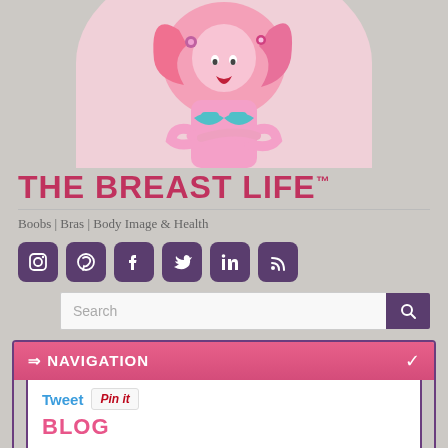[Figure (illustration): Illustrated woman with pink hair wearing a teal bra, arms crossed, standing in front of a pink semicircle background. Website logo illustration for The Breast Life blog.]
THE BREAST LIFE™
Boobs | Bras | Body Image & Health
[Figure (infographic): Row of 6 purple rounded-square social media icon buttons: Instagram, Pinterest, Facebook, Twitter, LinkedIn, RSS feed]
Search
⇒ NAVIGATION
Tweet
Pin it
BLOG